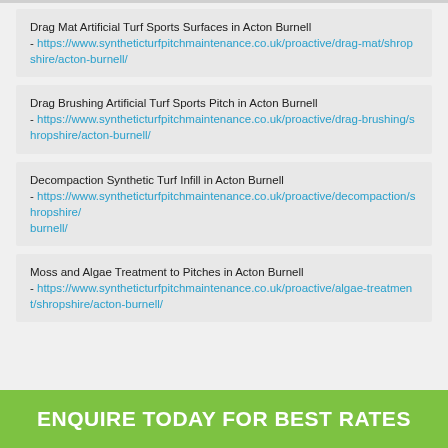Drag Mat Artificial Turf Sports Surfaces in Acton Burnell - https://www.syntheticturfpitchmaintenance.co.uk/proactive/drag-mat/shropshire/acton-burnell/
Drag Brushing Artificial Turf Sports Pitch in Acton Burnell - https://www.syntheticturfpitchmaintenance.co.uk/proactive/drag-brushing/shropshire/acton-burnell/
Decompaction Synthetic Turf Infill in Acton Burnell - https://www.syntheticturfpitchmaintenance.co.uk/proactive/decompaction/shropshire/acton-burnell/
Moss and Algae Treatment to Pitches in Acton Burnell - https://www.syntheticturfpitchmaintenance.co.uk/proactive/algae-treatment/shropshire/acton-burnell/
ENQUIRE TODAY FOR BEST RATES